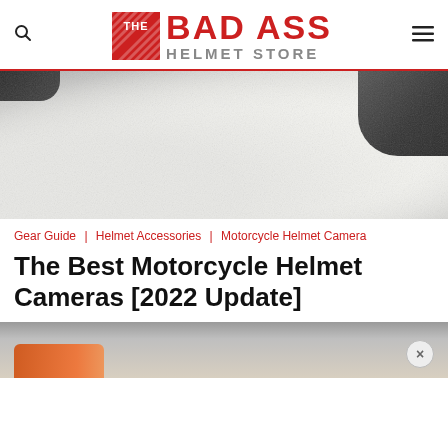The Bad Ass Helmet Store
[Figure (photo): Close-up photo of a motorcycle helmet against a white textured concrete surface. Dark helmet visible top-left and top-right corners.]
Gear Guide  Helmet Accessories  Motorcycle Helmet Camera
The Best Motorcycle Helmet Cameras [2022 Update]
[Figure (photo): Partial bottom image showing motorcycle or gear, with orange/red element visible and a close (×) button overlay.]